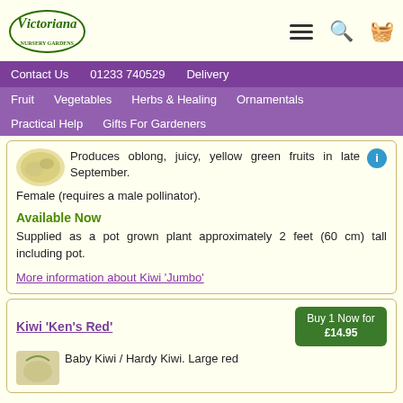[Figure (logo): Victoriana Nursery Gardens logo with decorative script text and oval border]
[Figure (illustration): Hamburger menu icon, magnifying glass search icon, and basket/cart icon in header]
Contact Us   01233 740529   Delivery
Fruit   Vegetables   Herbs & Healing   Ornamentals
Practical Help   Gifts For Gardeners
Produces oblong, juicy, yellow green fruits in late September. Female (requires a male pollinator).
Available Now
Supplied as a pot grown plant approximately 2 feet (60 cm) tall including pot.
More information about Kiwi 'Jumbo'
Kiwi 'Ken's Red'
Buy 1 Now for £14.95
Baby Kiwi / Hardy Kiwi. Large red